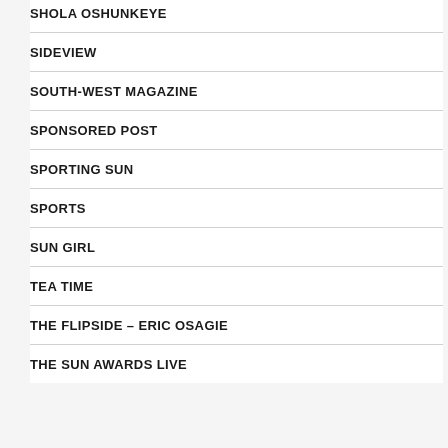SHOLA OSHUNKEYE
SIDEVIEW
SOUTH-WEST MAGAZINE
SPONSORED POST
SPORTING SUN
SPORTS
SUN GIRL
TEA TIME
THE FLIPSIDE – ERIC OSAGIE
THE SUN AWARDS LIVE